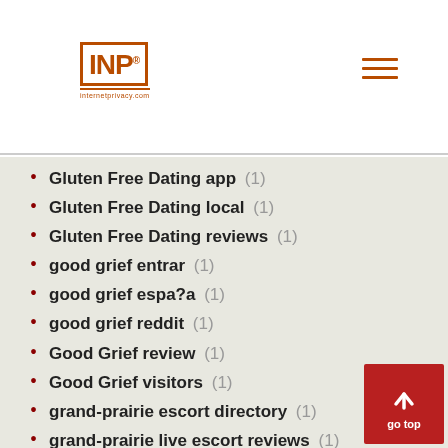INP logo with hamburger menu
Gluten Free Dating app (1)
Gluten Free Dating local (1)
Gluten Free Dating reviews (1)
good grief entrar (1)
good grief espa?a (1)
good grief reddit (1)
Good Grief review (1)
Good Grief visitors (1)
grand-prairie escort directory (1)
grand-prairie live escort reviews (1)
grand-prairie the escort (1)